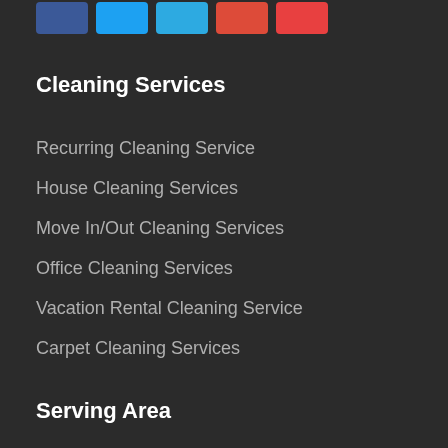[Figure (other): Row of social media icon buttons: Facebook (blue), Twitter (light blue), LinkedIn (light blue), Google+ (red), YouTube (red)]
Cleaning Services
Recurring Cleaning Service
House Cleaning Services
Move In/Out Cleaning Services
Office Cleaning Services
Vacation Rental Cleaning Service
Carpet Cleaning Services
Hardwood Floor Refinishing
Tile & Grout Cleaning
Serving Area